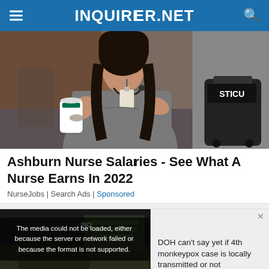INQUIRER.NET
[Figure (photo): Nurse in gray scrubs sitting down, holding a Starbucks cup, with a stethoscope around her neck and ID badge visible. A luggage tag reading STICU is visible in the background.]
Ashburn Nurse Salaries - See What A Nurse Earns In 2022
NurseJobs | Search Ads | Sponsored
[Figure (screenshot): Video player showing a news segment about monkeypox. Overlay text reads: The media could not be loaded, either because the server or network failed or because the format is not supported. Lower text caption: DOH CAN'T SAY YET IF 4TH MONKEYPOX CASE IS LOCALLY TRANSMITTED OR NOT. Side popup text: DOH can't say yet if 4th monkeypox case is locally transmitted or not.]